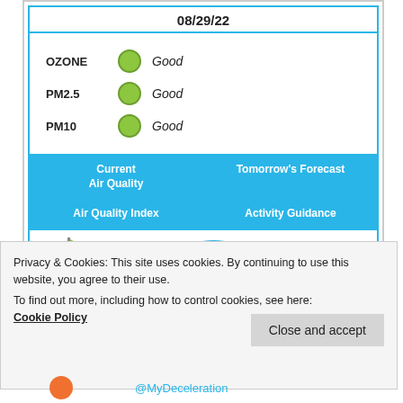[Figure (infographic): Air quality widget showing date 08/29/22 with OZONE, PM2.5, and PM10 all rated Good (green dots), with navigation links for Current Air Quality, Tomorrow's Forecast, Air Quality Index, Activity Guidance, and logos for Air Quality Flag Program, AirNow, and EPA.]
Privacy & Cookies: This site uses cookies. By continuing to use this website, you agree to their use.
To find out more, including how to control cookies, see here:
Cookie Policy
Close and accept
@MyDeceleration